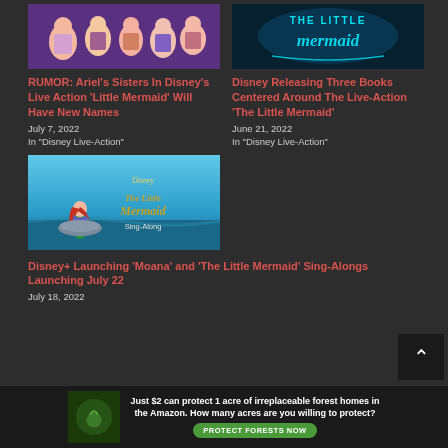[Figure (illustration): Ariel's sisters from Disney animated The Little Mermaid]
[Figure (illustration): The Little Mermaid live-action title card with teal glowing text on dark background]
RUMOR: Ariel’s Sisters In Disney’s Live Action ‘Little Mermaid’ Will Have New Names
July 7, 2022
In "Disney Live-Action"
Disney Releasing Three Books Centered Around The Live-Action ‘The Little Mermaid’
June 21, 2022
In "Disney Live-Action"
[Figure (illustration): Disney The Little Mermaid Sing-Along poster with Ariel on rocks]
Disney+ Launching ‘Moana’ and ‘The Little Mermaid’ Sing-Alongs Launching July 22
July 18, 2022
[Figure (photo): Advertisement banner: Just $2 can protect 1 acre of irreplaceable forest homes in the Amazon. How many acres are you willing to protect? PROTECT FORESTS NOW]